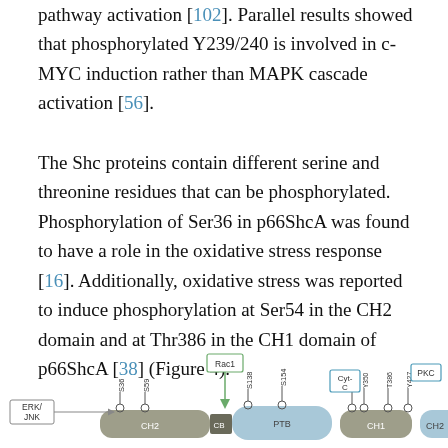pathway activation [102]. Parallel results showed that phosphorylated Y239/240 is involved in c-MYC induction rather than MAPK cascade activation [56].
The Shc proteins contain different serine and threonine residues that can be phosphorylated. Phosphorylation of Ser36 in p66ShcA was found to have a role in the oxidative stress response [16]. Additionally, oxidative stress was reported to induce phosphorylation at Ser54 in the CH2 domain and at Thr386 in the CH1 domain of p66ShcA [38] (Figure 4).
[Figure (schematic): Diagram showing protein domain structure with labeled residues (S36, S59, S138, S154, Y340/Y350, T386, Y427), signaling molecules (ERK/JNK, Rac1, PKC, Cyt-C, Rac1), and domain labels (CH2, CB, PTB, CH1, CH2). Arrow annotations indicate directional movement and signaling inputs.]